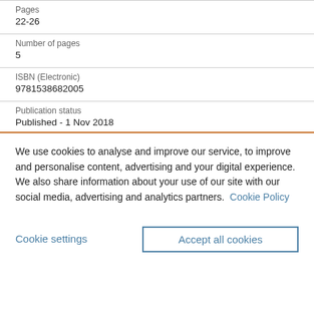Pages
22-26
Number of pages
5
ISBN (Electronic)
9781538682005
Publication status
Published - 1 Nov 2018
We use cookies to analyse and improve our service, to improve and personalise content, advertising and your digital experience. We also share information about your use of our site with our social media, advertising and analytics partners.  Cookie Policy
Cookie settings
Accept all cookies